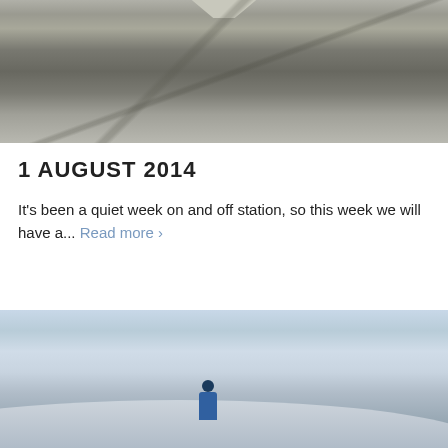[Figure (photo): Aerial or elevated view of a snowy/icy terrain with road or runway markings, grayscale tones]
1 AUGUST 2014
It's been a quiet week on and off station, so this week we will have a... Read more >
[Figure (photo): Person in blue jacket carrying equipment walking on a snow-covered hillside with pale blue sky background]